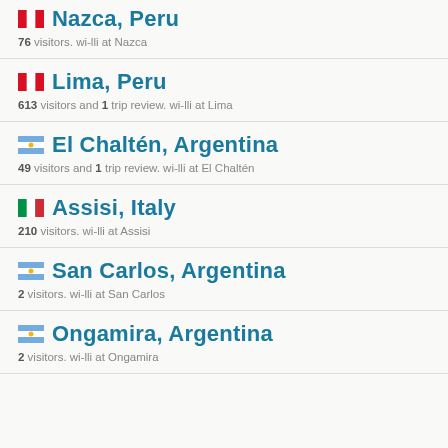Nazca, Peru — 76 visitors. wi-lli at Nazca
Lima, Peru — 613 visitors and 1 trip review. wi-lli at Lima
El Chaltén, Argentina — 49 visitors and 1 trip review. wi-lli at El Chaltén
Assisi, Italy — 210 visitors. wi-lli at Assisi
San Carlos, Argentina — 2 visitors. wi-lli at San Carlos
Ongamira, Argentina — 2 visitors. wi-lli at Ongamira